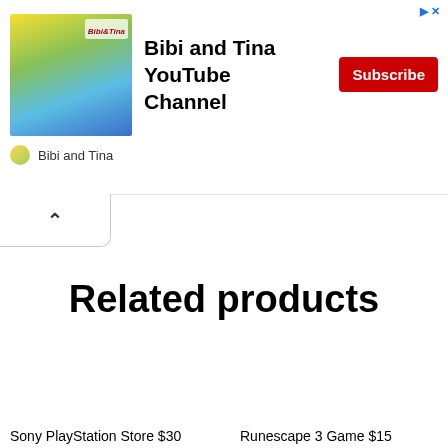[Figure (screenshot): Bibi and Tina YouTube Channel advertisement banner with thumbnail image, Subscribe button, and channel name]
Related products
Sony PlayStation Store $30
Runescape 3 Game $15